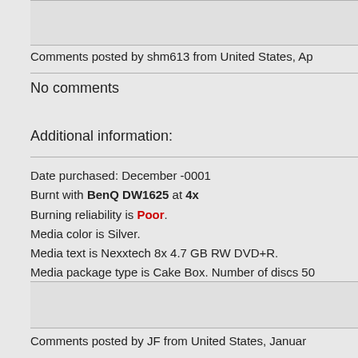Comments posted by shm613 from United States, Ap
No comments
Additional information:
Date purchased: December -0001
Burnt with BenQ DW1625 at 4x
Burning reliability is Poor.
Media color is Silver.
Media text is Nexxtech 8x 4.7 GB RW DVD+R.
Media package type is Cake Box. Number of discs 50
Comments posted by JF from United States, Januar